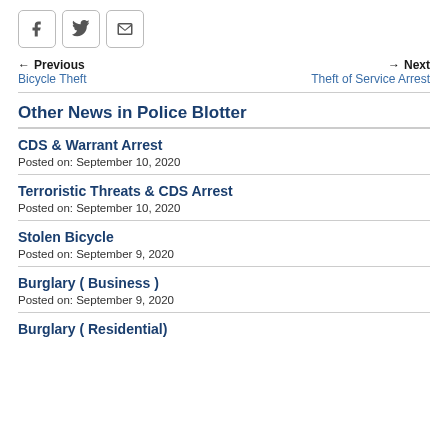Social share icons: Facebook, Twitter, Email
← Previous Bicycle Theft   Next → Theft of Service Arrest
Other News in Police Blotter
CDS & Warrant Arrest
Posted on: September 10, 2020
Terroristic Threats & CDS Arrest
Posted on: September 10, 2020
Stolen Bicycle
Posted on: September 9, 2020
Burglary ( Business )
Posted on: September 9, 2020
Burglary ( Residential)